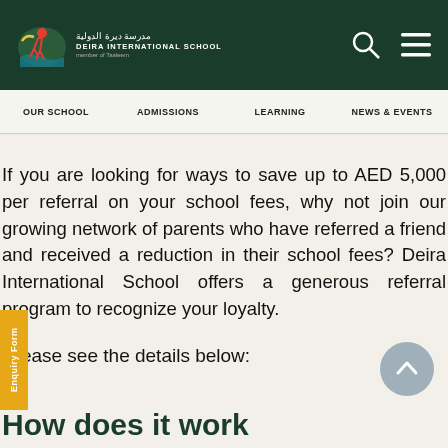[Figure (logo): Deira International School logo with Arabic text, English name, and school emblem on dark green header]
OUR SCHOOL | ADMISSIONS | LEARNING | NEWS & EVENTS
If you are looking for ways to save up to AED 5,000 per referral on your school fees, why not join our growing network of parents who have referred a friend and received a reduction in their school fees? Deira International School offers a generous referral program to recognize your loyalty.
Please see the details below: